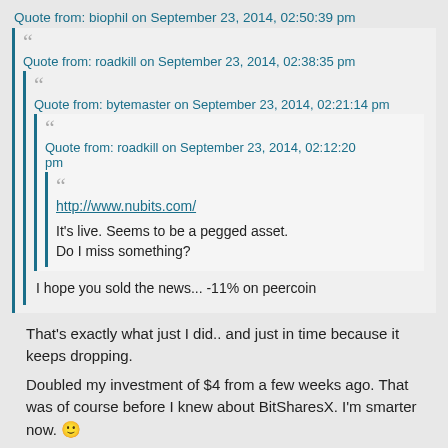Quote from: biophil on September 23, 2014, 02:50:39 pm
Quote from: roadkill on September 23, 2014, 02:38:35 pm
Quote from: bytemaster on September 23, 2014, 02:21:14 pm
Quote from: roadkill on September 23, 2014, 02:12:20 pm
http://www.nubits.com/
It's live. Seems to be a pegged asset. Do I miss something?
I hope you sold the news... -11% on peercoin
That's exactly what just I did.. and just in time because it keeps dropping.
Doubled my investment of $4 from a few weeks ago. That was of course before I knew about BitSharesX. I'm smarter now. 🙂